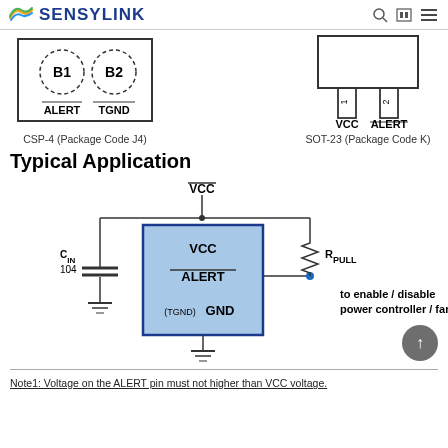SENSYLINK
[Figure (schematic): CSP-4 package pinout showing B1 (ALERT) and B2 (TGND) pins in dashed circles]
CSP-4 (Package Code J4)
[Figure (schematic): SOT-23 package pinout showing VCC and ALERT pins]
SOT-23 (Package Code K)
Typical Application
[Figure (schematic): Typical application circuit showing VCC supply, CIN bypass capacitor (104), IC block with VCC, ALERT, (TGND) GND pins, RPULL pullup resistor, and output to enable/disable power controller/fan]
Note1: Voltage on the ALERT pin must not higher than VCC voltage.